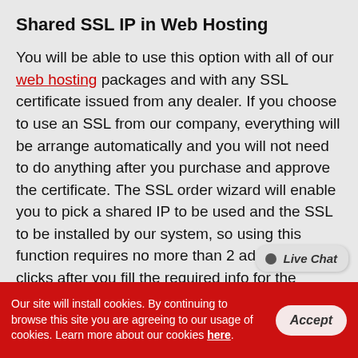Shared SSL IP in Web Hosting
You will be able to use this option with all of our web hosting packages and with any SSL certificate issued from any dealer. If you choose to use an SSL from our company, everything will be arrange automatically and you will not need to do anything after you purchase and approve the certificate. The SSL order wizard will enable you to pick a shared IP to be used and the SSL to be installed by our system, so using this function requires no more than 2 additional clicks after you fill the required info for the certificate. The appropriate operation of the SSL will not be impacted in any way and any details which site visitors submit on your website will be encrypted and protected in the very same way. The only difference from employing a dedicated address is that http:// shall not
Our site will install cookies. By continuing to browse this site you are agreeing to our usage of cookies. Learn more about our cookies here.